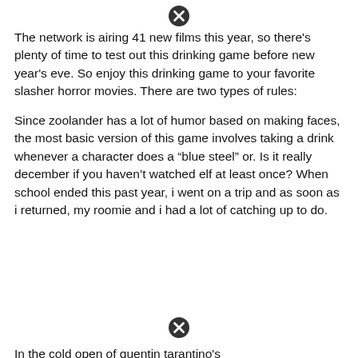[Figure (other): Close/cancel button icon (circle with X)]
The network is airing 41 new films this year, so there’s plenty of time to test out this drinking game before new year's eve. So enjoy this drinking game to your favorite slasher horror movies. There are two types of rules:
Since zoolander has a lot of humor based on making faces, the most basic version of this game involves taking a drink whenever a character does a “blue steel” or. Is it really december if you haven’t watched elf at least once? When school ended this past year, i went on a trip and as soon as i returned, my roomie and i had a lot of catching up to do.
[Figure (other): Close/cancel button icon (circle with X)]
In the cold open of quentin tarantino’s